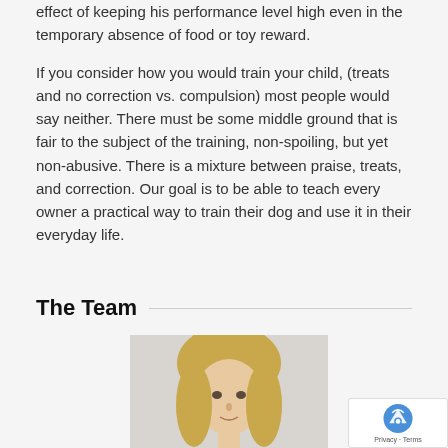effect of keeping his performance level high even in the temporary absence of food or toy reward.
If you consider how you would train your child, (treats and no correction vs. compulsion) most people would say neither. There must be some middle ground that is fair to the subject of the training, non-spoiling, but yet non-abusive. There is a mixture between praise, treats, and correction. Our goal is to be able to teach every owner a practical way to train their dog and use it in their everyday life.
The Team
[Figure (photo): Portrait photo of a blonde woman with bangs, looking at the camera against a light background.]